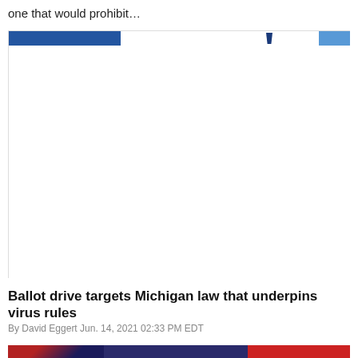one that would prohibit…
[Figure (photo): Partially visible photo showing blue elements at the top, mostly white/blank space below — appears to be a cropped news article image]
Ballot drive targets Michigan law that underpins virus rules
By David Eggert Jun. 14, 2021 02:33 PM EDT
[Figure (photo): Bottom portion of page showing a dark image with red, white and blue elements — partially visible news article photo]